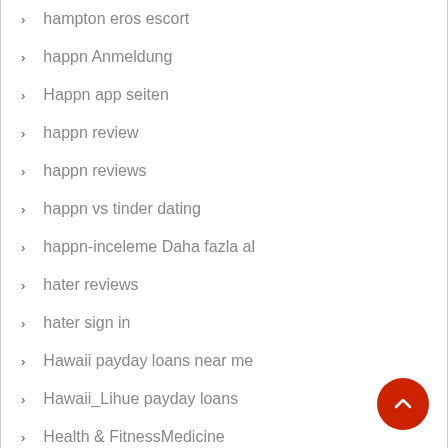hampton eros escort
happn Anmeldung
Happn app seiten
happn review
happn reviews
happn vs tinder dating
happn-inceleme Daha fazla al
hater reviews
hater sign in
Hawaii payday loans near me
Hawaii_Lihue payday loans
Health & FitnessMedicine
Health & FitnessWeight Loss
heated affairs ?berpr?fung
Heated affairs ervaring